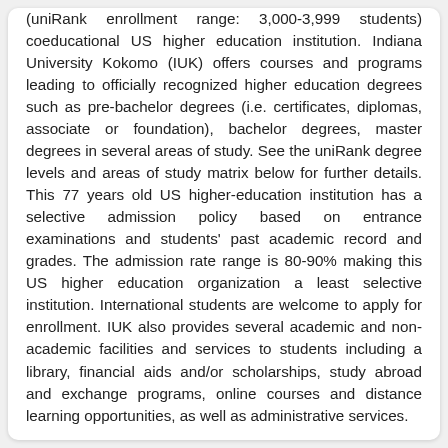(uniRank enrollment range: 3,000-3,999 students) coeducational US higher education institution. Indiana University Kokomo (IUK) offers courses and programs leading to officially recognized higher education degrees such as pre-bachelor degrees (i.e. certificates, diplomas, associate or foundation), bachelor degrees, master degrees in several areas of study. See the uniRank degree levels and areas of study matrix below for further details. This 77 years old US higher-education institution has a selective admission policy based on entrance examinations and students' past academic record and grades. The admission rate range is 80-90% making this US higher education organization a least selective institution. International students are welcome to apply for enrollment. IUK also provides several academic and non-academic facilities and services to students including a library, financial aids and/or scholarships, study abroad and exchange programs, online courses and distance learning opportunities, as well as administrative services.